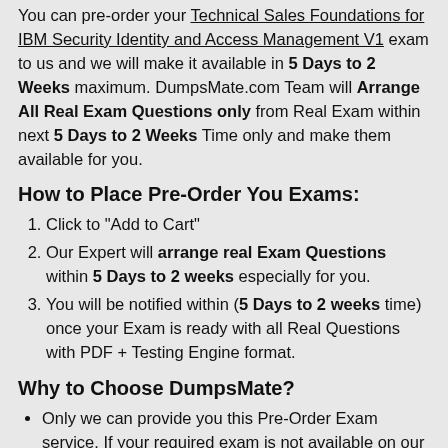You can pre-order your Technical Sales Foundations for IBM Security Identity and Access Management V1 exam to us and we will make it available in 5 Days to 2 Weeks maximum. DumpsMate.com Team will Arrange All Real Exam Questions only from Real Exam within next 5 Days to 2 Weeks Time only and make them available for you.
How to Place Pre-Order You Exams:
Click to "Add to Cart"
Our Expert will arrange real Exam Questions within 5 Days to 2 weeks especially for you.
You will be notified within (5 Days to 2 weeks time) once your Exam is ready with all Real Questions with PDF + Testing Engine format.
Why to Choose DumpsMate?
Only we can provide you this Pre-Order Exam service. If your required exam is not available on our website, Our Team will get it ready for you on